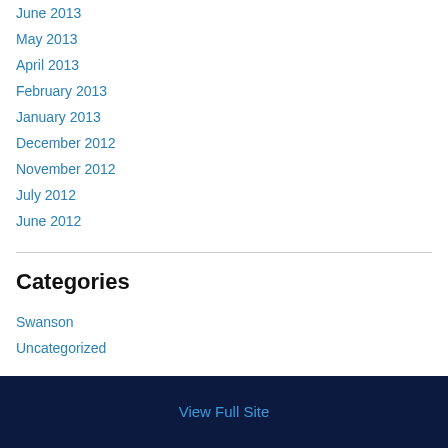June 2013
May 2013
April 2013
February 2013
January 2013
December 2012
November 2012
July 2012
June 2012
Categories
Swanson
Uncategorized
View Full Site